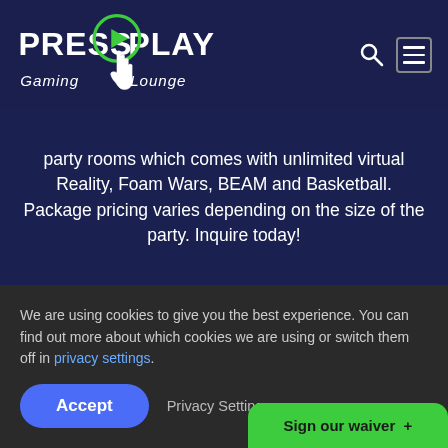[Figure (logo): Press Play Gaming Lounge logo with green circle play button and cursor hand icon]
party rooms which comes with unlimited virtual Reality, Foam Wars, BEAM and Basketball. Package pricing varies depending on the size of the party. Inquire today!
We are using cookies to give you the best experience. You can find out more about which cookies we are using or switch them off in privacy settings.
Accept
Privacy Settings
Sign our waiver +